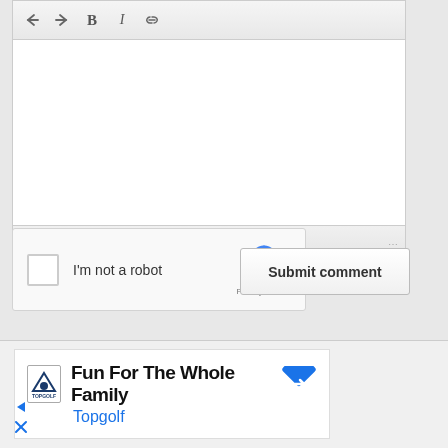[Figure (screenshot): Comment editor toolbar with undo, redo, bold, italic, and link buttons]
[Figure (screenshot): Empty text area for comment entry with status bar showing 'p' and resize handle]
[Figure (screenshot): reCAPTCHA widget with checkbox and 'I'm not a robot' label]
[Figure (screenshot): Submit comment button]
[Figure (screenshot): Advertisement for Topgolf: 'Fun For The Whole Family' with logo and navigation arrow]